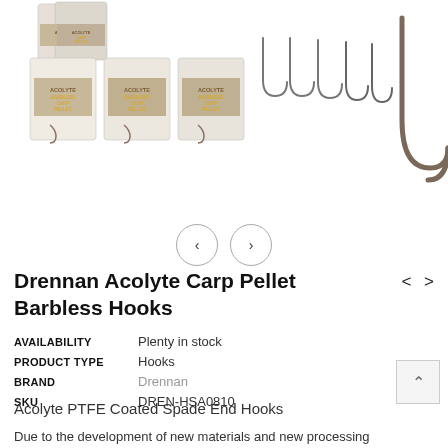[Figure (photo): Product images showing Drennan Acolyte Carp Pellet Barbless Hooks — fishing hook packages on the left, five individual hooks spread in the center, and a large single hook close-up on the right]
[Figure (infographic): Navigation arrows — left chevron and right chevron in circles for image carousel]
Drennan Acolyte Carp Pellet Barbless Hooks
| AVAILABILITY | Plenty in stock |
| PRODUCT TYPE | Hooks |
| BRAND | Drennan |
| SKU | DREN-HSA0810 |
Acolyte PTFE Coated Spade End Hooks
Due to the development of new materials and new processing techniques